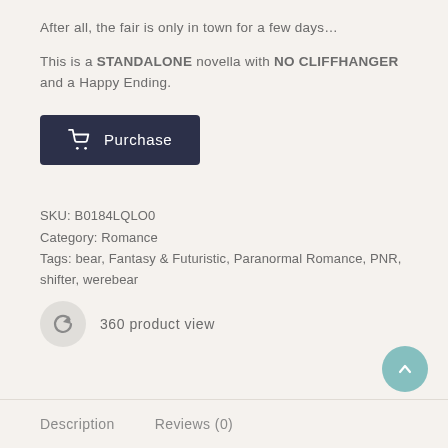After all, the fair is only in town for a few days…
This is a STANDALONE novella with NO CLIFFHANGER and a Happy Ending.
Purchase (button)
SKU: B0184LQLO0
Category: Romance
Tags: bear, Fantasy & Futuristic, Paranormal Romance, PNR, shifter, werebear
360 product view
Description
Reviews (0)